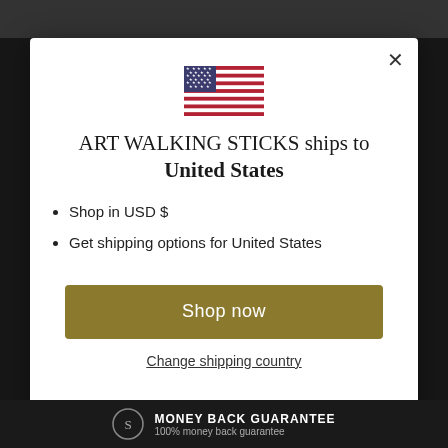[Figure (screenshot): Background website screenshot showing product images and a modal overlay]
[Figure (illustration): US flag SVG illustration centered in modal]
ART WALKING STICKS ships to United States
Shop in USD $
Get shipping options for United States
Shop now
Change shipping country
MONEY BACK GUARANTEE
100% money back guarantee